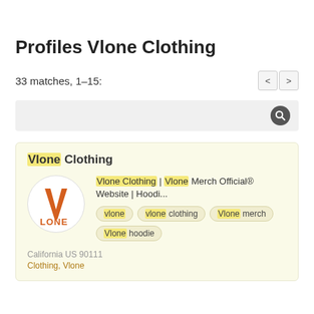Profiles Vlone Clothing
33 matches, 1—15:
[Figure (screenshot): Search bar with magnifying glass icon on grey background]
Vlone Clothing
[Figure (logo): Vlone Clothing logo - orange V letter with LONE text on white circle background]
Vlone Clothing | Vlone Merch Official® Website | Hoodi...
vlone
vlone clothing
Vlone merch
Vlone hoodie
California US 90111
Clothing, Vlone